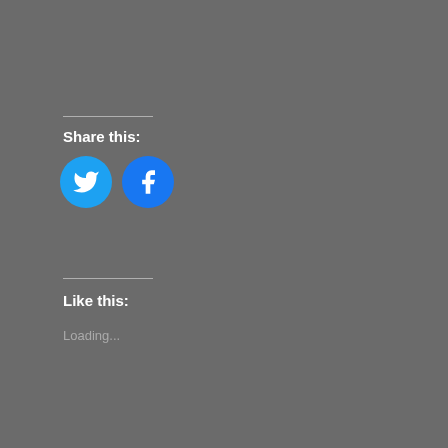Share this:
[Figure (illustration): Two circular social media share buttons: Twitter (light blue with bird icon) and Facebook (blue with f icon)]
Like this:
Loading...
Uncategorized
PREVIOUS POST
Birding and Camping on the Kenai National Wildlife Refuge